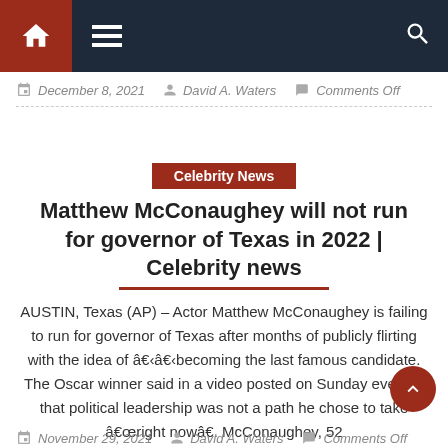Navigation bar with home, menu, and search icons
December 8, 2021  David A. Waters  Comments Off
Celebrity News
Matthew McConaughey will not run for governor of Texas in 2022 | Celebrity news
AUSTIN, Texas (AP) – Actor Matthew McConaughey is failing to run for governor of Texas after months of publicly flirting with the idea of â€‹â€‹becoming the last famous candidate. The Oscar winner said in a video posted on Sunday evening that political leadership was not a path he chose to take â€œright nowâ€. McConaughey, 52
November 29, 2021  David A. Waters  Comments Off